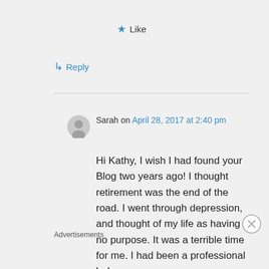★ Like
↳ Reply
Sarah on April 28, 2017 at 2:40 pm
Hi Kathy, I wish I had found your Blog two years ago! I thought retirement was the end of the road. I went through depression, and thought of my life as having no purpose. It was a terrible time for me. I had been a professional baker
Advertisements